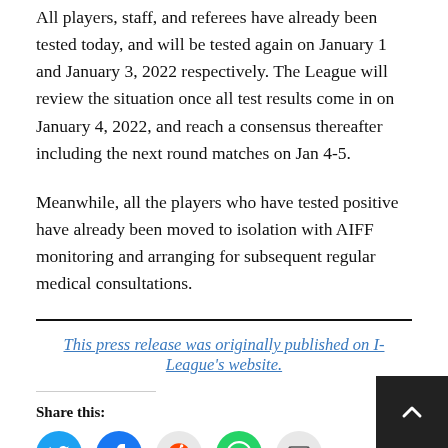All players, staff, and referees have already been tested today, and will be tested again on January 1 and January 3, 2022 respectively. The League will review the situation once all test results come in on January 4, 2022, and reach a consensus thereafter including the next round matches on Jan 4-5.
Meanwhile, all the players who have tested positive have already been moved to isolation with AIFF monitoring and arranging for subsequent regular medical consultations.
This press release was originally published on I-League's website.
Share this: